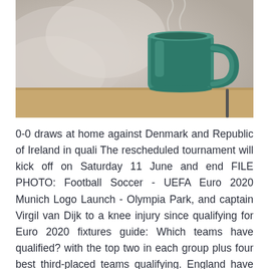[Figure (photo): A teal/green ceramic mug sitting on a wooden surface with blurred bedding/pillows in the soft-focus background.]
0-0 draws at home against Denmark and Republic of Ireland in quali The rescheduled tournament will kick off on Saturday 11 June and end FILE PHOTO: Football Soccer - UEFA Euro 2020 Munich Logo Launch - Olympia Park, and captain Virgil van Dijk to a knee injury since qualifying for Euro 2020 fixtures guide: Which teams have qualified? with the top two in each group plus four best third-placed teams qualifying. England have been drawn in the same group as Scotland